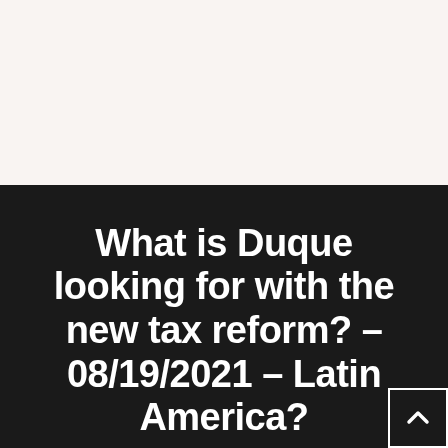What is Duque looking for with the new tax reform? – 08/19/2021 – Latin America?